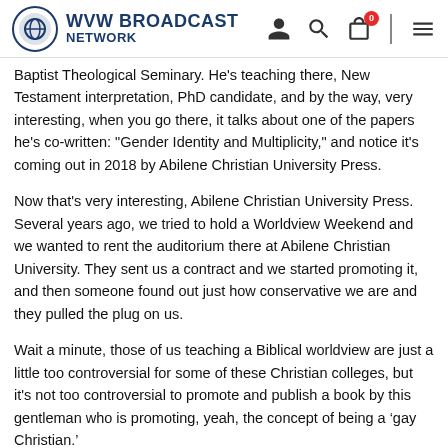WVW BROADCAST NETWORK
Baptist Theological Seminary. He's teaching there, New Testament interpretation, PhD candidate, and by the way, very interesting, when you go there, it talks about one of the papers he's co-written: "Gender Identity and Multiplicity," and notice it's coming out in 2018 by Abilene Christian University Press.
Now that's very interesting, Abilene Christian University Press. Several years ago, we tried to hold a Worldview Weekend and we wanted to rent the auditorium there at Abilene Christian University. They sent us a contract and we started promoting it, and then someone found out just how conservative we are and they pulled the plug on us.
Wait a minute, those of us teaching a Biblical worldview are just a little too controversial for some of these Christian colleges, but it's not too controversial to promote and publish a book by this gentleman who is promoting, yeah, the concept of being a 'gay Christian.'
Well, let me play for you, if I could, some audio clips that might help you understand a little bit about the worldview of Nate Collins, who